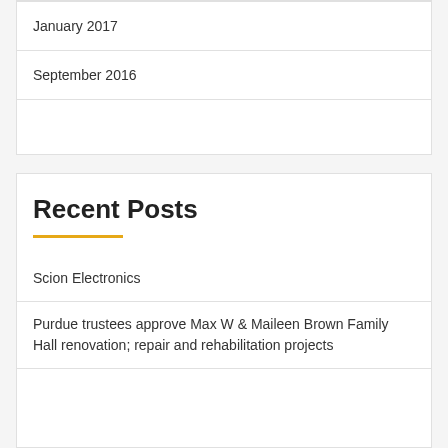January 2017
September 2016
Recent Posts
Scion Electronics
Purdue trustees approve Max W & Maileen Brown Family Hall renovation; repair and rehabilitation projects